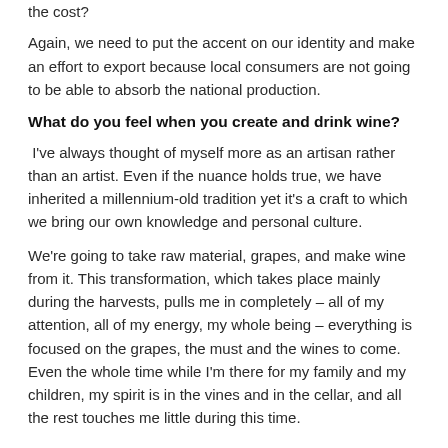the cost?
Again, we need to put the accent on our identity and make an effort to export because local consumers are not going to be able to absorb the national production.
What do you feel when you create and drink wine?
I've always thought of myself more as an artisan rather than an artist. Even if the nuance holds true, we have inherited a millennium-old tradition yet it's a craft to which we bring our own knowledge and personal culture.
We're going to take raw material, grapes, and make wine from it. This transformation, which takes place mainly during the harvests, pulls me in completely – all of my attention, all of my energy, my whole being – everything is focused on the grapes, the must and the wines to come. Even the whole time while I'm there for my family and my children, my spirit is in the vines and in the cellar, and all the rest touches me little during this time.